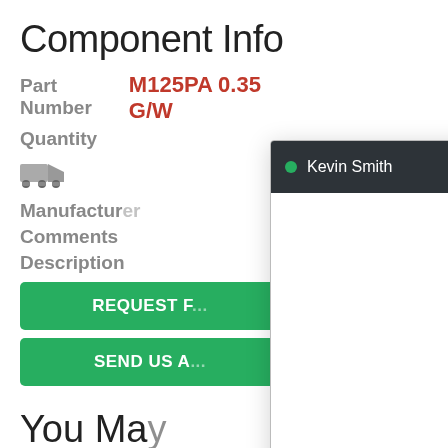Component Info
Part Number  M125PA 0.35 G/W
Quantity
[Figure (illustration): Truck/shipping icon]
Manufacturer
Comments
Description
REQUEST F...
SEND US A...
You May...
[Figure (screenshot): Live chat popup with header showing Kevin Smith (online), white message area, and 'Type your message...' input field at bottom]